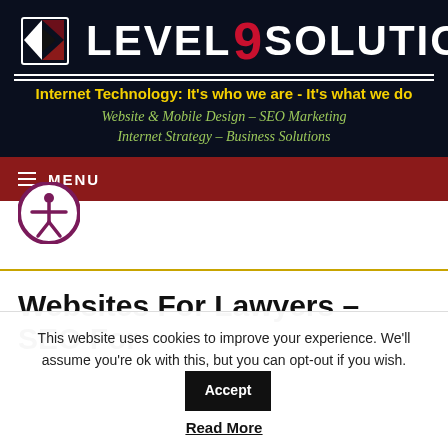[Figure (logo): Level 9 Solutions logo banner with dark navy background, red and white geometric icon on left, bold white text LEVEL9SOLUTIONS, yellow tagline 'Internet Technology: It's who we are - It's what we do', green italic text 'Website & Mobile Design - SEO Marketing Internet Strategy - Business Solutions']
☰ MENU
[Figure (illustration): Accessibility icon - person in circle with purple/maroon border]
Websites For Lawyers – SEO For
This website uses cookies to improve your experience. We'll assume you're ok with this, but you can opt-out if you wish.
Accept
Read More